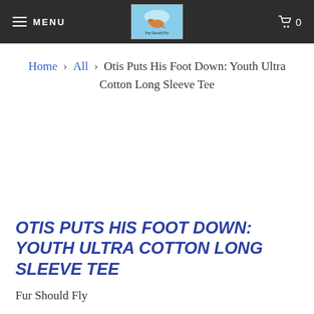MENU | Fur Should Fly | 0
Home › All › Otis Puts His Foot Down: Youth Ultra Cotton Long Sleeve Tee
OTIS PUTS HIS FOOT DOWN: YOUTH ULTRA COTTON LONG SLEEVE TEE
Fur Should Fly